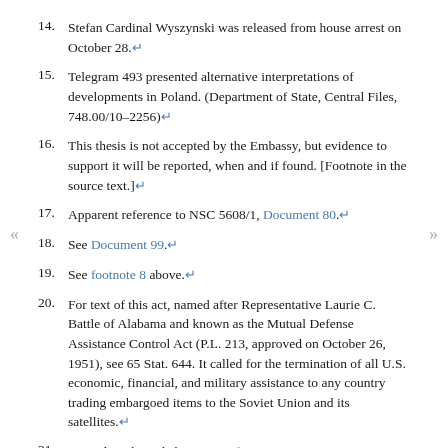14. Stefan Cardinal Wyszynski was released from house arrest on October 28.↵
15. Telegram 493 presented alternative interpretations of developments in Poland. (Department of State, Central Files, 748.00/10–2256)↵
16. This thesis is not accepted by the Embassy, but evidence to support it will be reported, when and if found. [Footnote in the source text.]↵
17. Apparent reference to NSC 5608/1, Document 80.↵
18. See Document 99.↵
19. See footnote 8 above.↵
20. For text of this act, named after Representative Laurie C. Battle of Alabama and known as the Mutual Defense Assistance Control Act (P.L. 213, approved on October 26, 1951), see 65 Stat. 644. It called for the termination of all U.S. economic, financial, and military assistance to any country trading embargoed items to the Soviet Union and its satellites.↵
21. Regarding the Polish note, see footnote 2, Document 92.